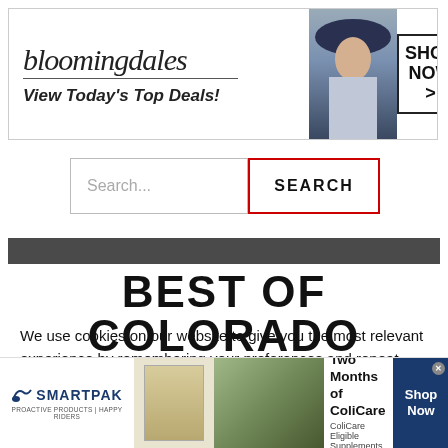[Figure (screenshot): Bloomingdale's advertisement banner: logo text 'bloomingdales', tagline 'View Today's Top Deals!', woman in hat, 'SHOP NOW >' button box]
[Figure (screenshot): Search bar with placeholder text 'Search...' and red-bordered 'SEARCH' button]
[Figure (screenshot): Dark gray horizontal bar]
BEST OF COLORADO
We use cookies on our website to give you the most relevant experience by remembering your preferences and repeat visits. By clicking “Accept All”, you consent to the use of ALL
[Figure (screenshot): SmartPak advertisement: logo, product image, horse and rider photo, '50% Off Two Months of ColiCare, ColiCare Eligible Supplements, CODE: COLICARE10', 'Shop Now' blue button]